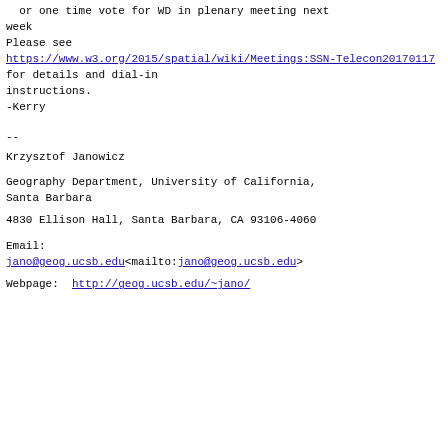or one time vote for WD in plenary meeting next
week
Please see
https://www.w3.org/2015/spatial/wiki/Meetings:SSN-Telecon20170117 for details and dial-in
instructions.
-Kerry
--
Krzysztof Janowicz
Geography Department, University of California,
Santa Barbara
4830 Ellison Hall, Santa Barbara, CA 93106-4060
Email:
jano@geog.ucsb.edu<mailto:jano@geog.ucsb.edu>
Webpage:  http://geog.ucsb.edu/~jano/